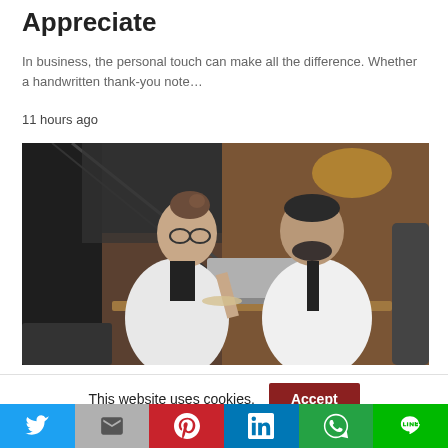Appreciate
In business, the personal touch can make all the difference. Whether a handwritten thank-you note…
11 hours ago
[Figure (photo): Two business professionals sitting at a table in a cafe-style setting. A woman with glasses in a white blazer and a man in a white shirt with tie looking at a laptop on the table.]
This website uses cookies.
[Figure (infographic): Social media share bar with icons for Twitter, Gmail/Google, Pinterest, LinkedIn, WhatsApp, and LINE]